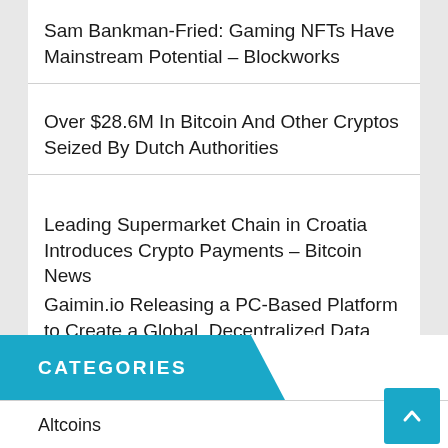Sam Bankman-Fried: Gaming NFTs Have Mainstream Potential – Blockworks
Over $28.6M In Bitcoin And Other Cryptos Seized By Dutch Authorities
Leading Supermarket Chain in Croatia Introduces Crypto Payments – Bitcoin News
Gaimin.io Releasing a PC-Based Platform to Create a Global, Decentralized Data Processing Network – Sponsored Bitcoin News
CATEGORIES
Altcoins